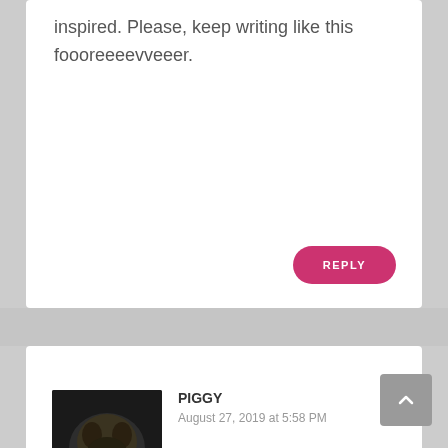inspired. Please, keep writing like this foooreeeevveeer.
REPLY
PIGGY
August 27, 2019 at 5:58 PM
[Figure (photo): Small square avatar photo of a dark-furred dog (pug or similar breed)]
Your wish is my command. <3
REPLY
MARTA
[Figure (photo): Partial avatar photo of a person, mostly dark/blue tones, partially visible at bottom of page]